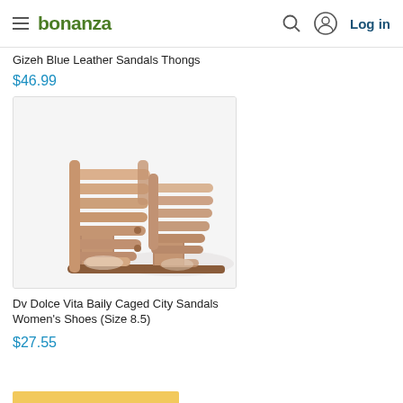bonanza  Log in
Gizeh Blue Leather Sandals Thongs
$46.99
[Figure (photo): Tan beige caged gladiator high heel sandals with multiple horizontal straps and chunky block heel, displayed on white background]
Dv Dolce Vita Baily Caged City Sandals Women's Shoes (Size 8.5)
$27.55